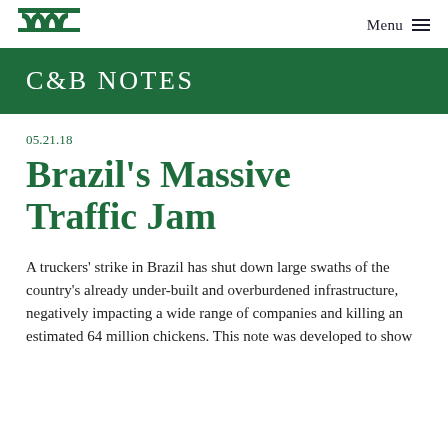Menu
C&B Notes
05.21.18
Brazil's Massive Traffic Jam
A truckers' strike in Brazil has shut down large swaths of the country's already under-built and overburdened infrastructure, negatively impacting a wide range of companies and killing an estimated 64 million chickens. This note was developed to show...